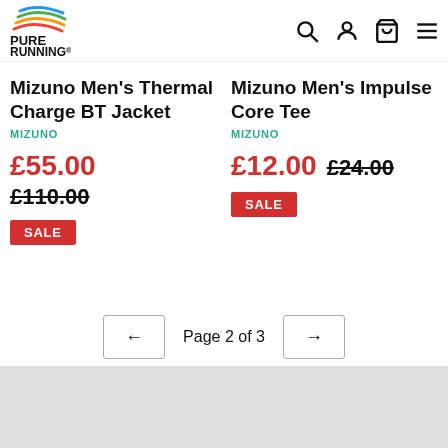[Figure (logo): Pure Running logo with coloured swoosh lines and bold text PURE RUNNING]
Mizuno Men's Thermal Charge BT Jacket
MIZUNO
£55.00
£110.00
SALE
Mizuno Men's Impulse Core Tee
MIZUNO
£12.00  £24.00
SALE
← Page 2 of 3 →